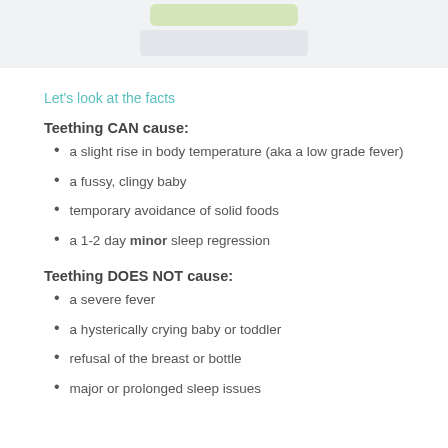[Figure (other): Blurred header banner with green and grey tones, likely a logo or site header]
Let's look at the facts
Teething CAN cause:
a slight rise in body temperature (aka a low grade fever)
a fussy, clingy baby
temporary avoidance of solid foods
a 1-2 day minor sleep regression
Teething DOES NOT cause:
a severe fever
a hysterically crying baby or toddler
refusal of the breast or bottle
major or prolonged sleep issues